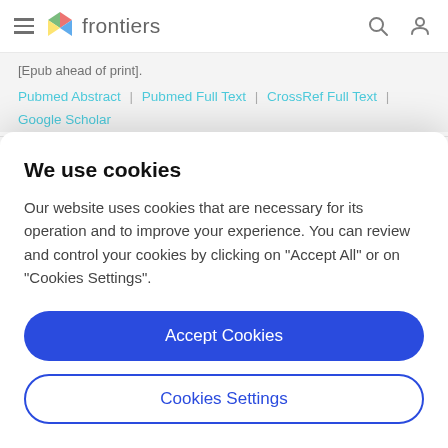frontiers
[Epub ahead of print].
Pubmed Abstract | Pubmed Full Text | CrossRef Full Text | Google Scholar
Gaxiola, R. A., Li, J., Undurraga, S., Dang, L. M., Allen, G. J., Alper, S. ...et al (2001). Drought- and salt-tolerant plants result from...
We use cookies
Our website uses cookies that are necessary for its operation and to improve your experience. You can review and control your cookies by clicking on "Accept All" or on "Cookies Settings".
Accept Cookies
Cookies Settings